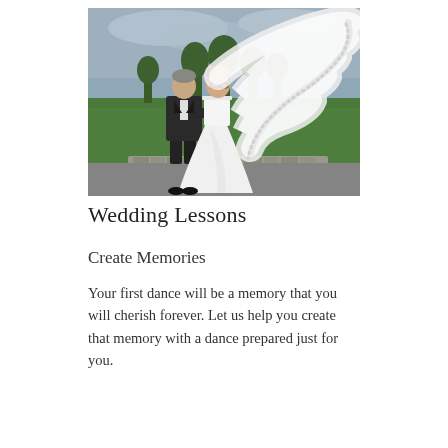[Figure (photo): Wedding photo of a couple posing outdoors. The groom wears a dark suit and the bride wears a white strapless wedding gown with a long lace-edged veil blowing dramatically in the wind. They are embracing on a paved path with green lawns and trees in the background under an overcast sky.]
Wedding Lessons
Create Memories
Your first dance will be a memory that you will cherish forever. Let us help you create that memory with a dance prepared just for you.